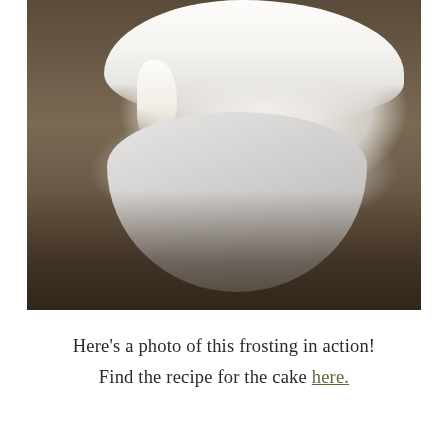[Figure (photo): Close-up photo of a white ceramic bowl filled with white frosting/cream, with some cream dripping over the side, placed on a rustic wooden surface. A whisk is partially visible in the upper right corner.]
Here's a photo of this frosting in action! Find the recipe for the cake here.